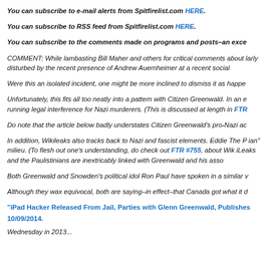You can subscribe to e-mail alerts from Spitfirelist.com HERE.
You can subscribe to RSS feed from Spitfirelist.com HERE.
You can subscribe to the comments made on programs and posts–an exce
COMMENT: While lambasting Bill Maher and others for critical comments about larly disturbed by the recent presence of Andrew Auernheimer at a recent social
Were this an isolated incident, one might be more inclined to dismiss it as happe
Unfortunately, this fits all too neatly into a pattern with Citizen Greenwald. In an e running legal interference for Nazi murderers. (This is discussed at length in FTR
Do note that the article below badly understates Citizen Greenwald's pro-Nazi ac
In addition, Wikileaks also tracks back to Nazi and fascist elements. Eddie The P ian" milieu. (To flesh out one's understanding, do check out FTR #755, about Wik iLeaks and the Paulistinians are inextricably linked with Greenwald and his asso
Both Greenwald and Snowden's political idol Ron Paul have spoken in a similar v
Although they wax equivocal, both are saying–in effect–that Canada got what it d
"iPad Hacker Released From Jail, Parties with Glenn Greenwald, Publishes 10/09/2014.
Wednesday in 2013...